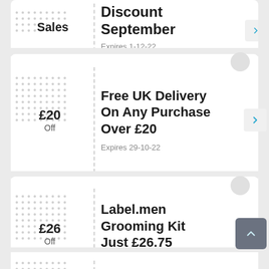Sales — Discount September
Expires 1-12-22
£20 Off
Free UK Delivery On Any Purchase Over £20
Expires 29-10-22
£26 Off
Label.men Grooming Kit Just £26.75
Expires 29-11-22